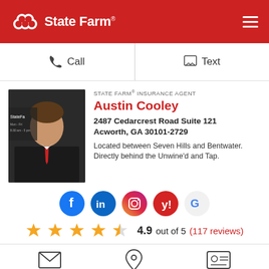State Farm
Call
Text
STATE FARM® INSURANCE AGENT
Austin Cooley
2487 Cedarcrest Road Suite 121
Acworth, GA 30101-2729
Located between Seven Hills and Bentwater. Directly behind the Unwine'd and Tap.
[Figure (logo): Social media icons: Facebook, LinkedIn, Instagram, Yelp, Google]
4.9 out of 5 (117 reviews)
[Figure (illustration): Bottom bar icons: email/envelope, location pin, ID card]